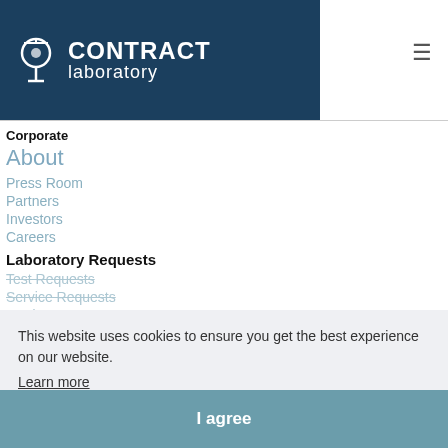[Figure (logo): Contract Laboratory logo with microscope icon and text 'CONTRACT laboratory' on dark blue background]
Corporate
About
Press Room
Partners
Investors
Careers
Laboratory Requests
Test Requests
Service Requests
Product Requests
Business Requests
Laboratory Resources
Laboratory Directory
Laboratory News
Laboratory Events
Lab Outsourcing Blog
This website uses cookies to ensure you get the best experience on our website.
Learn more
I agree